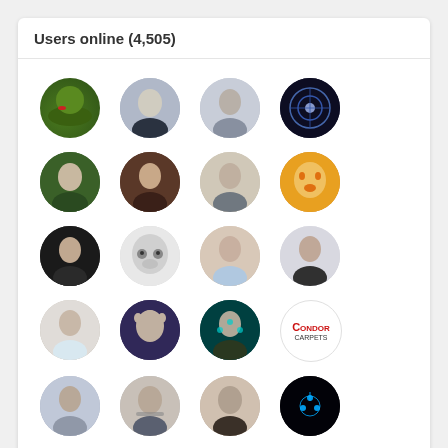Users online (4,505)
[Figure (illustration): Grid of 21 circular user avatar profile pictures arranged in 4 rows of 6, 6, 6, and 3]
Power Platform
Overview